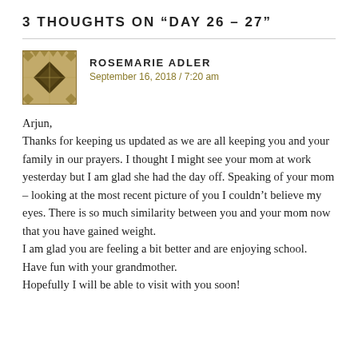3 THOUGHTS ON “DAY 26 – 27”
[Figure (illustration): Avatar icon with geometric diamond and cross pattern in dark olive/brown colors]
ROSEMARIE ADLER
September 16, 2018 / 7:20 am
Arjun,
Thanks for keeping us updated as we are all keeping you and your family in our prayers. I thought I might see your mom at work yesterday but I am glad she had the day off. Speaking of your mom – looking at the most recent picture of you I couldn’t believe my eyes. There is so much similarity between you and your mom now that you have gained weight.
I am glad you are feeling a bit better and are enjoying school.
Have fun with your grandmother.
Hopefully I will be able to visit with you soon!